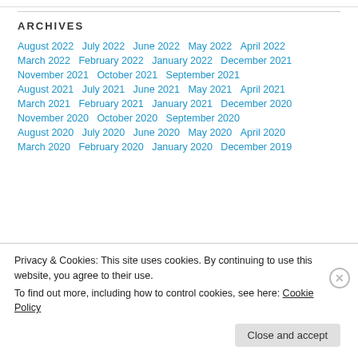ARCHIVES
August 2022
July 2022
June 2022
May 2022
April 2022
March 2022
February 2022
January 2022
December 2021
November 2021
October 2021
September 2021
August 2021
July 2021
June 2021
May 2021
April 2021
March 2021
February 2021
January 2021
December 2020
November 2020
October 2020
September 2020
August 2020
July 2020
June 2020
May 2020
April 2020
March 2020
February 2020
January 2020
December 2019
Privacy & Cookies: This site uses cookies. By continuing to use this website, you agree to their use. To find out more, including how to control cookies, see here: Cookie Policy
Close and accept